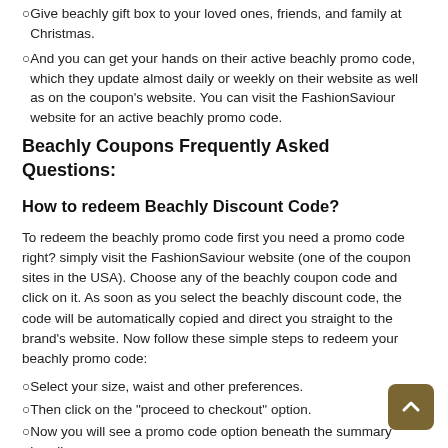Give beachly gift box to your loved ones, friends, and family at Christmas.
And you can get your hands on their active beachly promo code, which they update almost daily or weekly on their website as well as on the coupon's website. You can visit the FashionSaviour website for an active beachly promo code.
Beachly Coupons Frequently Asked Questions:
How to redeem Beachly Discount Code?
To redeem the beachly promo code first you need a promo code right? simply visit the FashionSaviour website (one of the coupon sites in the USA). Choose any of the beachly coupon code and click on it. As soon as you select the beachly discount code, the code will be automatically copied and direct you straight to the brand's website. Now follow these simple steps to redeem your beachly promo code:
Select your size, waist and other preferences.
Then click on the "proceed to checkout" option.
Now you will see a promo code option beneath the summary heading.